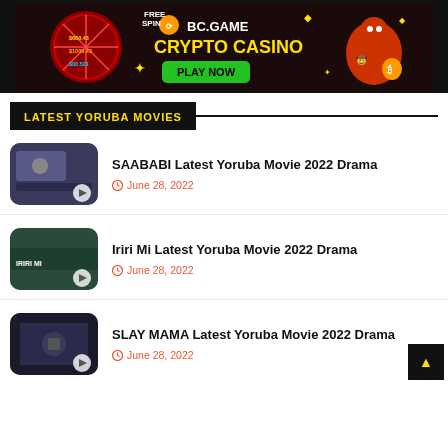[Figure (infographic): BC.GAME Crypto Casino advertisement banner with FREE SPIN wheel, colorful casino graphics, and PLAY NOW button on dark background]
LATEST YORUBA MOVIES
SAABABI Latest Yoruba Movie 2022 Drama — June 28, 2022
Iriri Mi Latest Yoruba Movie 2022 Drama — June 28, 2022
SLAY MAMA Latest Yoruba Movie 2022 Drama — June 28, 2022